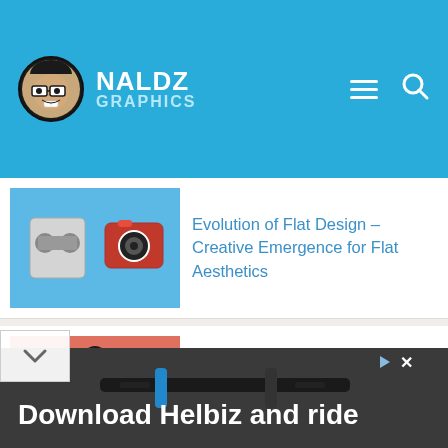NALDZ GRAPHICS
Evolution of Flat Design – Creative Emergence for Flat Aesthetics
1300+ Excellent Free Tribal Brushes and Tattoo Tutorials for Photoshop
Music Album Arts Impressively Painted In An Actual Face
[Figure (screenshot): Advertisement banner: Download Helbiz and ride, with bicycle handlebar photo background]